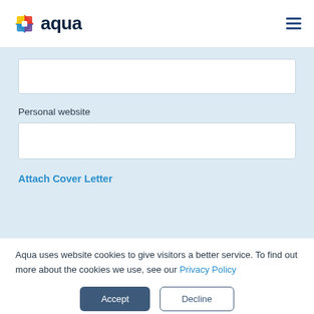[Figure (logo): Aqua logo with colorful square icon and dark teal 'aqua' wordmark]
Personal website
Attach Cover Letter
Aqua uses website cookies to give visitors a better service. To find out more about the cookies we use, see our Privacy Policy